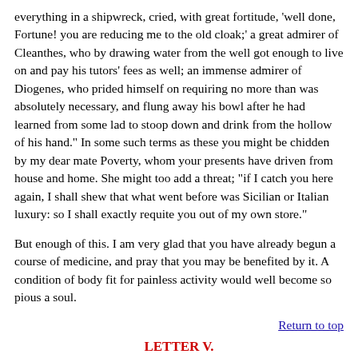everything in a shipwreck, cried, with great fortitude, 'well done, Fortune! you are reducing me to the old cloak;' a great admirer of Cleanthes, who by drawing water from the well got enough to live on and pay his tutors' fees as well; an immense admirer of Diogenes, who prided himself on requiring no more than was absolutely necessary, and flung away his bowl after he had learned from some lad to stoop down and drink from the hollow of his hand." In some such terms as these you might be chidden by my dear mate Poverty, whom your presents have driven from house and home. She might too add a threat; "if I catch you here again, I shall shew that what went before was Sicilian or Italian luxury: so I shall exactly requite you out of my own store."
But enough of this. I am very glad that you have already begun a course of medicine, and pray that you may be benefited by it. A condition of body fit for painless activity would well become so pious a soul.
Return to top
LETTER V.
To Nectarius.
1. I HEARD of your unendurable loss, and was much distressed.